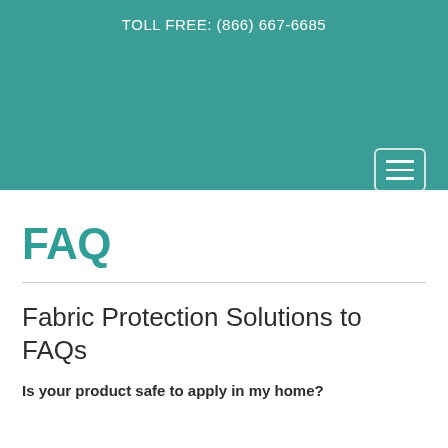TOLL FREE: (866) 667-6685
[Figure (other): Hamburger menu icon button with three horizontal lines inside a rounded rectangle border]
FAQ
Fabric Protection Solutions to FAQs
Is your product safe to apply in my home?